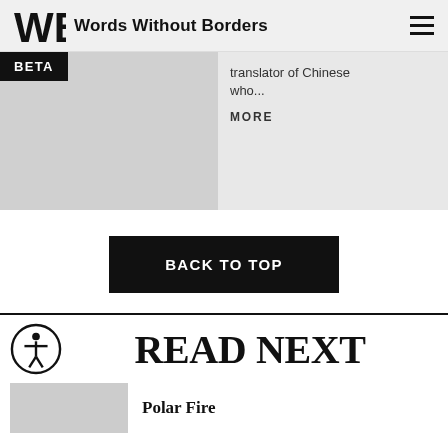Words Without Borders
translator of Chinese who...
MORE
BACK TO TOP
READ NEXT
Polar Fire